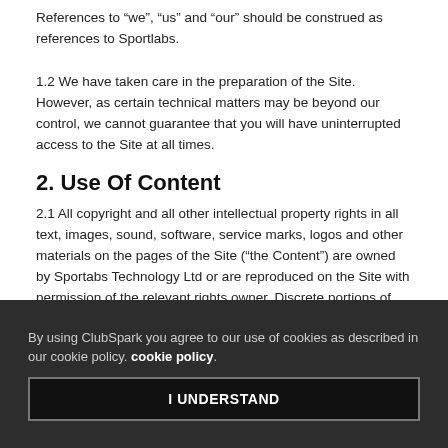References to "we", "us" and "our" should be construed as references to Sportlabs.
1.2 We have taken care in the preparation of the Site. However, as certain technical matters may be beyond our control, we cannot guarantee that you will have uninterrupted access to the Site at all times.
2. Use Of Content
2.1 All copyright and all other intellectual property rights in all text, images, sound, software, service marks, logos and other materials on the pages of the Site ("the Content") are owned by Sportabs Technology Ltd or are reproduced on the Site with permission of the relevant rights owner. Discrete portions of the Site include Open Source software code which is not bound by this copyright. For details please see the Open Source attribution notices.
By using ClubSpark you agree to our use of cookies as described in our cookie policy. cookie policy.
I UNDERSTAND